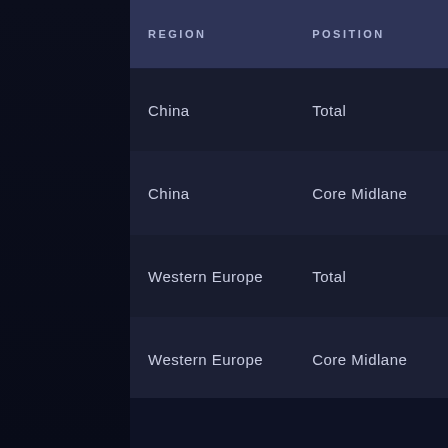| REGION | POSITION |
| --- | --- |
| China | Total |
| China | Core Midlane |
| Western Europe | Total |
| Western Europe | Core Midlane |
| Eastern Europe | Total |
| Eastern Europe | Core Midlane |
| Seasonal Major | Total |
| Seasonal Major | Core Midlane |